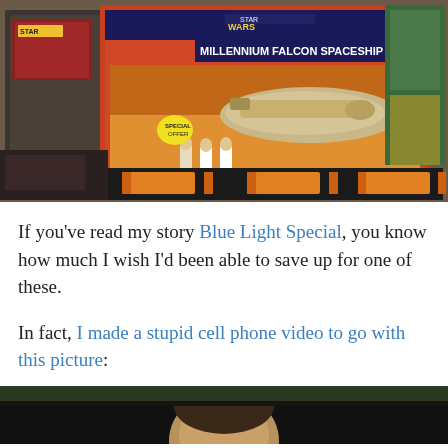[Figure (photo): Photo of a vintage Star Wars Millennium Falcon Spaceship toy box in a store, surrounded by other Star Wars merchandise on shelves. The box features the classic orange and red artwork with figures.]
If you've read my story Blue Light Special, you know how much I wish I'd been able to save up for one of these.
In fact, I made a stupid cell phone video to go with this picture:
[Figure (photo): Bottom portion of a video thumbnail showing a person's face, partially cropped.]